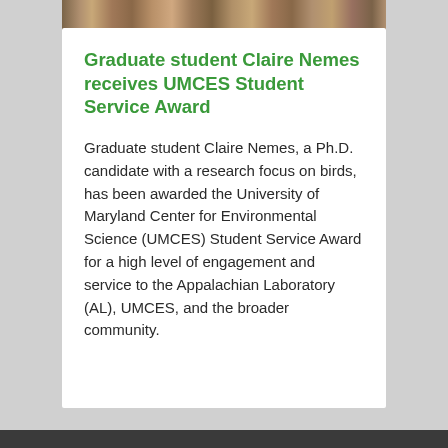[Figure (photo): Partial photo strip at top showing a person with brown/blonde hair outdoors]
Graduate student Claire Nemes receives UMCES Student Service Award
Graduate student Claire Nemes, a Ph.D. candidate with a research focus on birds, has been awarded the University of Maryland Center for Environmental Science (UMCES) Student Service Award for a high level of engagement and service to the Appalachian Laboratory (AL), UMCES, and the broader community.